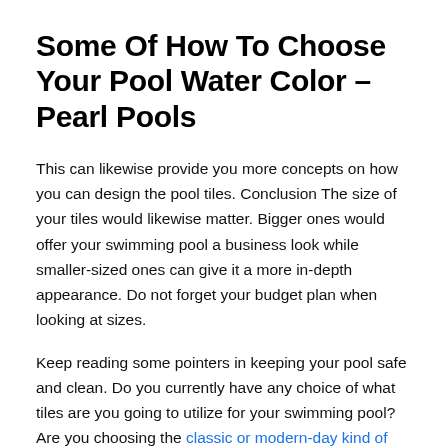Some Of How To Choose Your Pool Water Color – Pearl Pools
This can likewise provide you more concepts on how you can design the pool tiles. Conclusion The size of your tiles would likewise matter. Bigger ones would offer your swimming pool a business look while smaller-sized ones can give it a more in-depth appearance. Do not forget your budget plan when looking at sizes.
Keep reading some pointers in keeping your pool safe and clean. Do you currently have any choice of what tiles are you going to utilize for your swimming pool? Are you choosing the classic or modern-day kind of